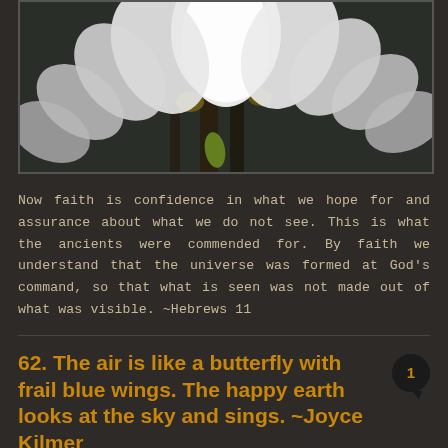[Figure (photo): Close-up photograph of white flower petals with dark background, showing magnolia or similar white flowers in bloom]
Now faith is confidence in what we hope for and assurance about what we do not see. This is what the ancients were commended for. By faith we understand that the universe was formed at God’s command, so that what is seen was not made out of what was visible. ~Hebrews 11
62. The air is like a butterfly with frail blue wings. The happy earth looks at the sky and sings. ~Joyce Kilmer
MARCH 14, 2013
[Figure (photo): Partial view of blue/purple flowers at bottom of page]